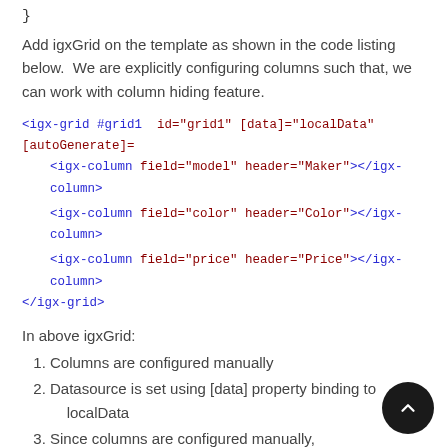}
Add igxGrid on the template as shown in the code listing below.  We are explicitly configuring columns such that, we can work with column hiding feature.
<igx-grid #grid1  id="grid1" [data]="localData" [autoGenerate]=>
    <igx-column field="model" header="Maker"></igx-column>
    <igx-column field="color" header="Color"></igx-column>
    <igx-column field="price" header="Price"></igx-column>
</igx-grid>
In above igxGrid:
Columns are configured manually
Datasource is set using [data] property binding to localData
Since columns are configured manually, autoGenerate is set to false.